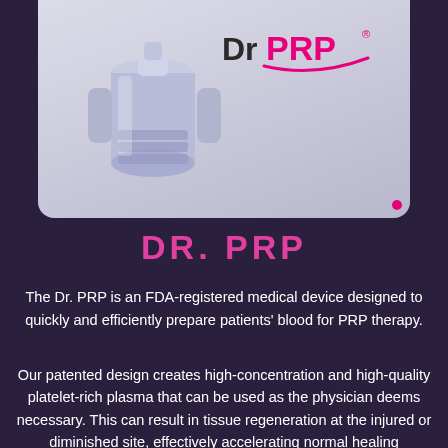[Figure (photo): Product image of Dr. PRP medical device (syringe/tube component) on light gray-blue background with DrPRP logo in top right]
DR. PRP
The Dr. PRP is an FDA-registered medical device designed to quickly and efficiently prepare patients' blood for PRP therapy.
Our patented design creates high-concentration and high-quality platelet-rich plasma that can be used as the physician deems necessary. This can result in tissue regeneration at the injured or diminished site, effectively accelerating normal healing processes.